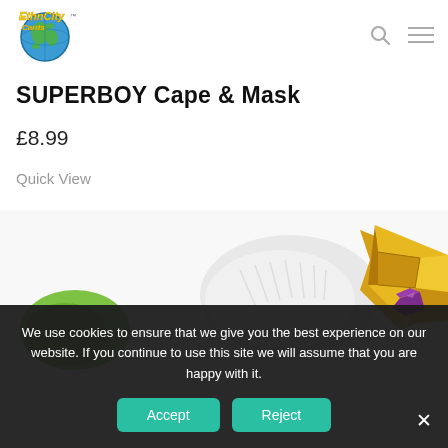[Figure (logo): EthnCity Cards logo — globe graphic with yellow stylized text]
SUPERBOY Cape & Mask
£8.99
Quick View
[Figure (photo): Product photo showing cosplay items — a golden geometric mask with purple gem, white feathery cape edge, and green textured item visible at left]
We use cookies to ensure that we give you the best experience on our website. If you continue to use this site we will assume that you are happy with it.